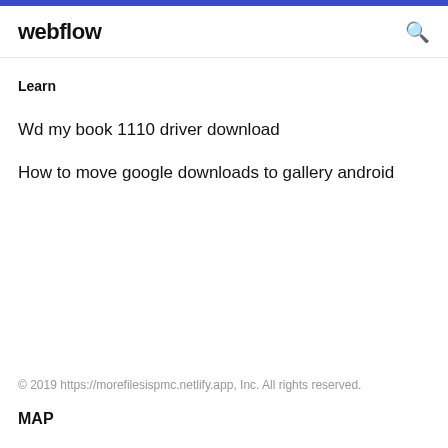webflow
Learn
Wd my book 1110 driver download
How to move google downloads to gallery android
© 2019 https://morefilesispmc.netlify.app, Inc. All rights reserved.
MAP